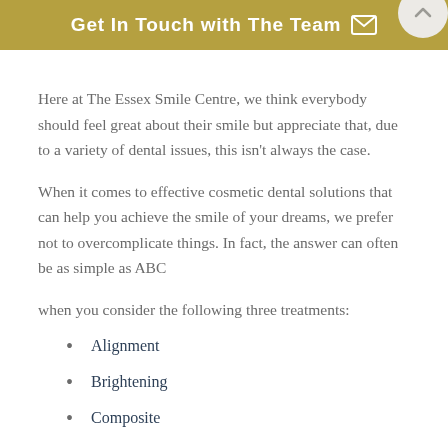Get In Touch with The Team
Here at The Essex Smile Centre, we think everybody should feel great about their smile but appreciate that, due to a variety of dental issues, this isn't always the case.
When it comes to effective cosmetic dental solutions that can help you achieve the smile of your dreams, we prefer not to overcomplicate things. In fact, the answer can often be as simple as ABC
when you consider the following three treatments:
Alignment
Brightening
Composite
So, if you are living with a smile that you feel the need to